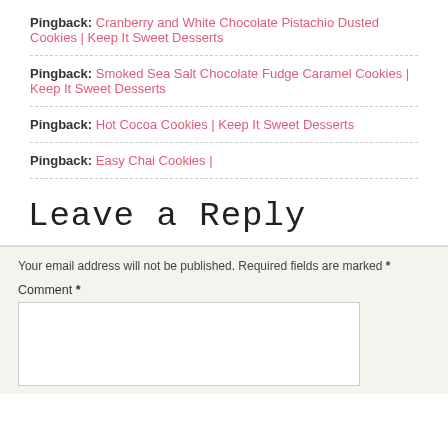Pingback: Cranberry and White Chocolate Pistachio Dusted Cookies | Keep It Sweet Desserts
Pingback: Smoked Sea Salt Chocolate Fudge Caramel Cookies | Keep It Sweet Desserts
Pingback: Hot Cocoa Cookies | Keep It Sweet Desserts
Pingback: Easy Chai Cookies |
Leave a Reply
Your email address will not be published. Required fields are marked *
Comment *